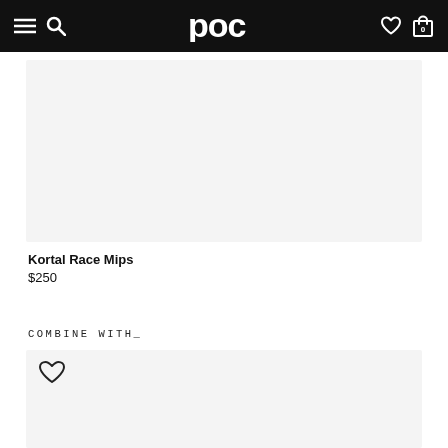poc
[Figure (photo): Product image placeholder area for Kortal Race Mips helmet, light gray background]
Kortal Race Mips
$250
COMBINE WITH_
[Figure (photo): Related product image placeholder with heart/wishlist icon, light gray background]